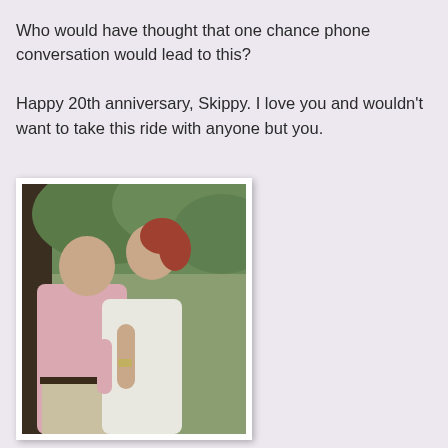Who would have thought that one chance phone conversation would lead to this?

Happy 20th anniversary, Skippy. I love you and wouldn't want to take this ride with anyone but you.
[Figure (photo): A couple embracing and kissing outdoors. The man wears a pink striped shirt and khaki pants; the woman has reddish hair and wears a white sleeveless top. Trees are visible in the background.]